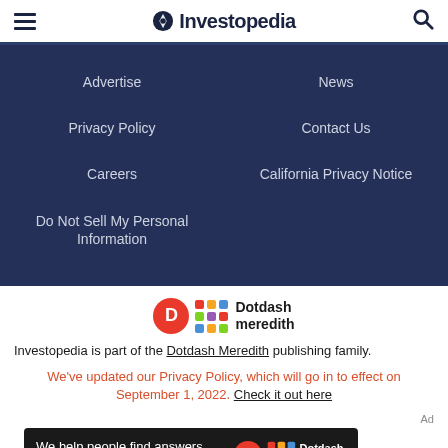Investopedia
Advertise
News
Privacy Policy
Contact Us
Careers
California Privacy Notice
Do Not Sell My Personal Information
[Figure (logo): Dotdash Meredith logo with orange D circle and colorful dots grid]
Investopedia is part of the Dotdash Meredith publishing family.
We've updated our Privacy Policy, which will go in to effect on September 1, 2022. Check it out here
[Figure (photo): Dotdash Meredith advertisement banner: We help people find answers, solve problems and get inspired.]